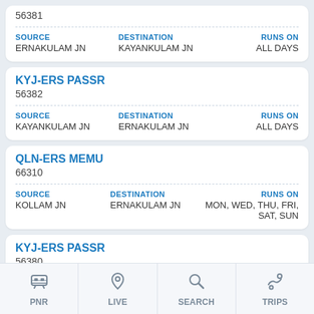56381 | SOURCE: ERNAKULAM JN | DESTINATION: KAYANKULAM JN | RUNS ON: ALL DAYS
KYJ-ERS PASSR | 56382 | SOURCE: KAYANKULAM JN | DESTINATION: ERNAKULAM JN | RUNS ON: ALL DAYS
QLN-ERS MEMU | 66310 | SOURCE: KOLLAM JN | DESTINATION: ERNAKULAM JN | RUNS ON: MON, WED, THU, FRI, SAT, SUN
KYJ-ERS PASSR | 56380 | SOURCE: KAYANKULAM JN | DESTINATION: ERNAKULAM JN | RUNS ON: ALL DAYS
PNR | LIVE | SEARCH | TRIPS